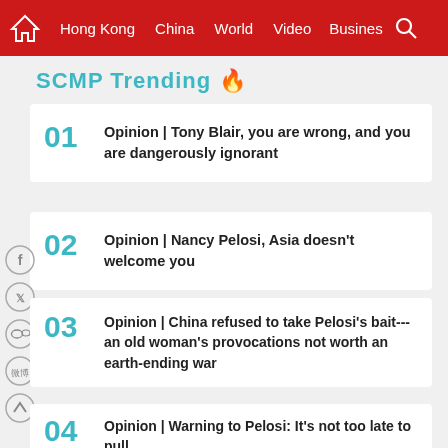Hong Kong | China | World | Video | Business
SCMP Trending 🔥
01 Opinion | Tony Blair, you are wrong, and you are dangerously ignorant
02 Opinion | Nancy Pelosi, Asia doesn't welcome you
03 Opinion | China refused to take Pelosi's bait---an old woman's provocations not worth an earth-ending war
04 Opinion | Warning to Pelosi: It's not too late to pull